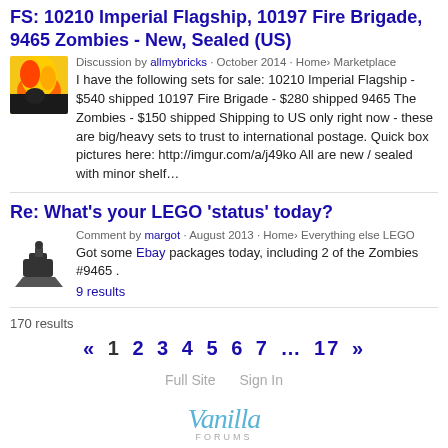FS: 10210 Imperial Flagship, 10197 Fire Brigade, 9465 Zombies - New, Sealed (US)
Discussion by allmybricks · October 2014 · Home› Marketplace
I have the following sets for sale: 10210 Imperial Flagship - $540 shipped 10197 Fire Brigade - $280 shipped 9465 The Zombies - $150 shipped Shipping to US only right now - these are big/heavy sets to trust to international postage. Quick box pictures here: http://imgur.com/a/j49ko All are new / sealed with minor shelf…
Re: What's your LEGO 'status' today?
Comment by margot · August 2013 · Home› Everything else LEGO
Got some Ebay packages today, including 2 of the Zombies #9465 .
9 results
170 results
« 1 2 3 4 5 6 7 … 17 »
Full Site   Sign In
[Figure (logo): Vanilla Forums logo]